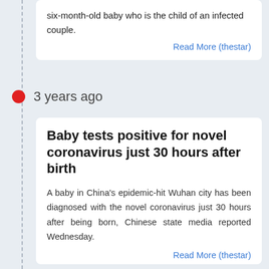six-month-old baby who is the child of an infected couple.
Read More (thestar)
3 years ago
Baby tests positive for novel coronavirus just 30 hours after birth
A baby in China's epidemic-hit Wuhan city has been diagnosed with the novel coronavirus just 30 hours after being born, Chinese state media reported Wednesday.
Read More (thestar)